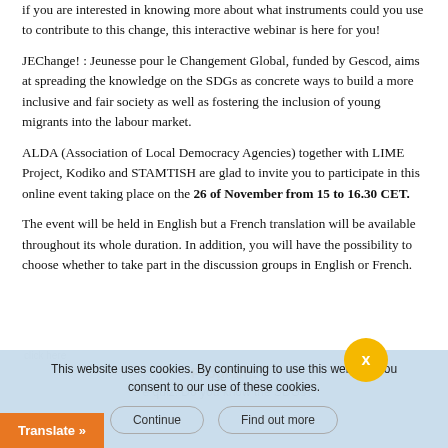if you are interested in knowing more about what instruments could you use to contribute to this change, this interactive webinar is here for you!
JEChange! : Jeunesse pour le Changement Global, funded by Gescod, aims at spreading the knowledge on the SDGs as concrete ways to build a more inclusive and fair society as well as fostering the inclusion of young migrants into the labour market.
ALDA (Association of Local Democracy Agencies) together with LIME Project, Kodiko and STAMTISH are glad to invite you to participate in this online event taking place on the 26 of November from 15 to 16.30 CET.
The event will be held in English but a French translation will be available throughout its whole duration. In addition, you will have the possibility to choose whether to take part in the discussion groups in English or French.
Program:
- e quiz: Do you know the SDGs?
This website uses cookies. By continuing to use this website, you consent to our use of these cookies.